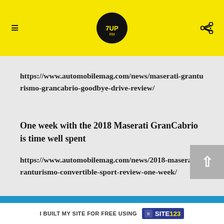7UP logo header with hamburger menu and share icon
https://www.automobilemag.com/news/maserati-granturismo-grancabrio-goodbye-drive-review/
One week with the 2018 Maserati GranCabrio is time well spent
https://www.automobilemag.com/news/2018-maserati-granturismo-convertible-sport-review-one-week/
We drive the subtly updated GranTurismo in Italy
I BUILT MY SITE FOR FREE USING  SITE123